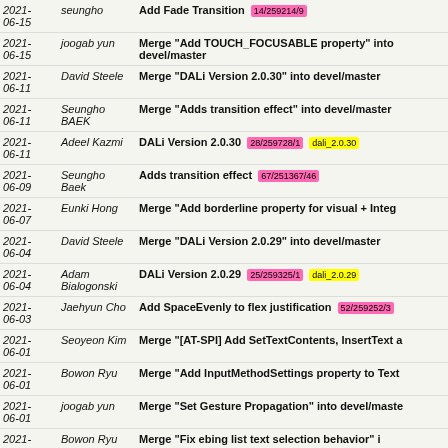| Date | Author | Commit Message |
| --- | --- | --- |
| 2021-06-15 | seungho | Add Fade Transition 14/259214/9 |
| 2021-06-15 | joogab yun | Merge "Add TOUCH_FOCUSABLE property" into devel/master |
| 2021-06-11 | David Steele | Merge "DALi Version 2.0.30" into devel/master |
| 2021-06-11 | Seungho BAEK | Merge "Adds transition effect" into devel/master |
| 2021-06-11 | Adeel Kazmi | DALi Version 2.0.30 28/259728/1 dali_2.0.30 |
| 2021-06-09 | Seungho Baek | Adds transition effect 67/251367/46 |
| 2021-06-07 | Eunki Hong | Merge "Add borderline property for visual + Integ..." |
| 2021-06-04 | David Steele | Merge "DALi Version 2.0.29" into devel/master |
| 2021-06-04 | Adam Bialogonski | DALi Version 2.0.29 25/259325/1 dali_2.0.29 |
| 2021-06-03 | Jaehyun Cho | Add SpaceEvenly to flex justification 52/259252/3 |
| 2021-06-01 | Seoyeon Kim | Merge "[AT-SPI] Add SetTextContents, InsertText a..." |
| 2021-06-01 | Bowon Ryu | Merge "Add InputMethodSettings property to Text..." |
| 2021-06-01 | joogab yun | Merge "Set Gesture Propagation" into devel/maste... |
| 2021-... | Bowon Ryu | Merge "Fix ebing list text selection behavior" i... |